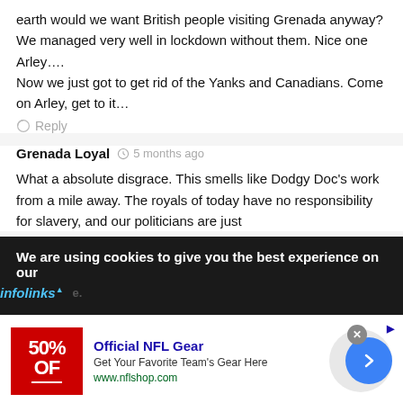earth would we want British people visiting Grenada anyway? We managed very well in lockdown without them. Nice one Arley…. Now we just got to get rid of the Yanks and Canadians. Come on Arley, get to it…
Reply
Grenada Loyal  5 months ago
What a absolute disgrace. This smells like Dodgy Doc's work from a mile away. The royals of today have no responsibility for slavery, and our politicians are just
We are using cookies to give you the best experience on our
infolinks
[Figure (screenshot): Advertisement for Official NFL Gear showing red banner with '50% OFF' text, ad title 'Official NFL Gear', description 'Get Your Favorite Team's Gear Here', url 'www.nflshop.com', with a blue circular arrow button on the right.]